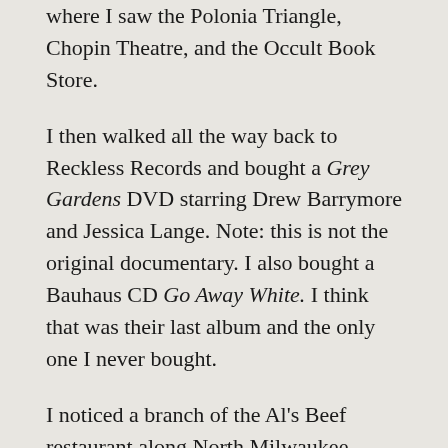where I saw the Polonia Triangle, Chopin Theatre, and the Occult Book Store.
I then walked all the way back to Reckless Records and bought a Grey Gardens DVD starring Drew Barrymore and Jessica Lange. Note: this is not the original documentary. I also bought a Bauhaus CD Go Away White. I think that was their last album and the only one I never bought.
I noticed a branch of the Al's Beef restaurant along North Milwaukee Avenue so that is where I had lunch at 10:45 a.m. I ordered a Polish Chicago style hot dog with fries and a Mountain Dew which I poured myself.
After eating I walked back to the Division Station and took the Blue Line to the Chicago Station. I saw the Chicago Dramatists building and the Intuit: The Center for Intuitive and Outsider Art museum which is